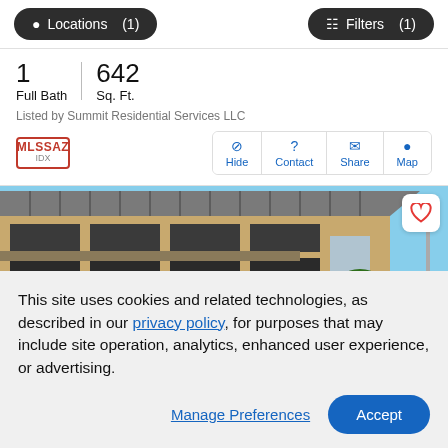Locations (1)   Filters (1)
1 Full Bath   642 Sq. Ft.
Listed by Summit Residential Services LLC
Hide  Contact  Share  Map
[Figure (photo): Exterior photo of a multi-story residential building with metal roof, balconies, and trees in front under blue sky. Number 901 visible on building.]
This site uses cookies and related technologies, as described in our privacy policy, for purposes that may include site operation, analytics, enhanced user experience, or advertising.
Manage Preferences   Accept